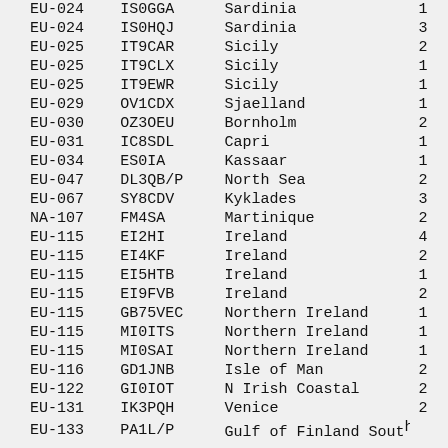| EU-024 | IS0GGA | Sardinia | 1 |
| EU-024 | IS0HQJ | Sardinia | 3 |
| EU-025 | IT9CAR | Sicily | 2 |
| EU-025 | IT9CLX | Sicily | 1 |
| EU-025 | IT9EWR | Sicily | 1 |
| EU-029 | OV1CDX | Sjaelland | 1 |
| EU-030 | OZ3OEU | Bornholm | 2 |
| EU-031 | IC8SDL | Capri | 1 |
| EU-034 | ES0IA | Kassaar | 1 |
| EU-047 | DL3QB/P | North Sea | 2 |
| EU-067 | SY8CDV | Kyklades | 3 |
| NA-107 | FM4SA | Martinique | 2 |
| EU-115 | EI2HI | Ireland | 4 |
| EU-115 | EI4KF | Ireland | 2 |
| EU-115 | EI5HTB | Ireland | 1 |
| EU-115 | EI9FVB | Ireland | 2 |
| EU-115 | GB75VEC | Northern Ireland | 1 |
| EU-115 | MI0ITS | Northern Ireland | 1 |
| EU-115 | MI0SAI | Northern Ireland | 1 |
| EU-116 | GD1JNB | Isle of Man | 2 |
| EU-122 | GI0IOT | N Irish Coastal | 2 |
| EU-131 | IK3PQH | Venice | 2 |
| EU-133 | PA1L/P | Gulf of Finland South |  |